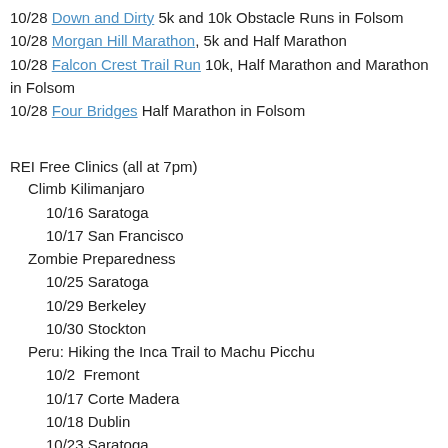10/28 Down and Dirty 5k and 10k Obstacle Runs in Folsom
10/28 Morgan Hill Marathon, 5k and Half Marathon
10/28 Falcon Crest Trail Run 10k, Half Marathon and Marathon in Folsom
10/28 Four Bridges Half Marathon in Folsom
REI Free Clinics (all at 7pm)
Climb Kilimanjaro
10/16 Saratoga
10/17 San Francisco
Zombie Preparedness
10/25 Saratoga
10/29 Berkeley
10/30 Stockton
Peru: Hiking the Inca Trail to Machu Picchu
10/2  Fremont
10/17 Corte Madera
10/18 Dublin
10/23 Saratoga
Starry Night: A Remarkable Story of Survival in the Andes
10/25 Mountain View
10/30 Berkeley